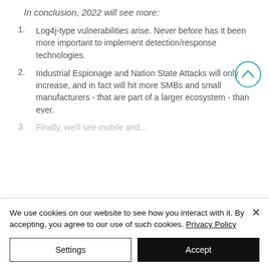In conclusion, 2022 will see more:
Log4j-type vulnerabilities arise. Never before has it been more important to implement detection/response technologies.
Industrial Espionage and Nation State Attacks will only increase, and in fact will hit more SMBs and small manufacturers - that are part of a larger ecosystem - than ever.
Finally, we'll see mobile and...
We use cookies on our website to see how you interact with it. By accepting, you agree to our use of such cookies. Privacy Policy